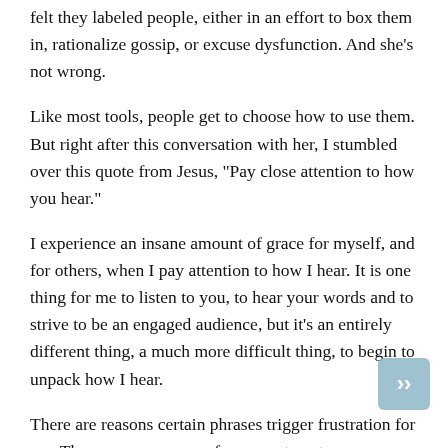felt they labeled people, either in an effort to box them in, rationalize gossip, or excuse dysfunction. And she's not wrong.
Like most tools, people get to choose how to use them. But right after this conversation with her, I stumbled over this quote from Jesus, "Pay close attention to how you hear."
I experience an insane amount of grace for myself, and for others, when I pay attention to how I hear. It is one thing for me to listen to you, to hear your words and to strive to be an engaged audience, but it's an entirely different thing, a much more difficult thing, to begin to unpack how I hear.
There are reasons certain phrases trigger frustration for me. There are reasons my face goes to auto-response when people use certain words or take on a certain tone. I would add that the first ten years of my marriage